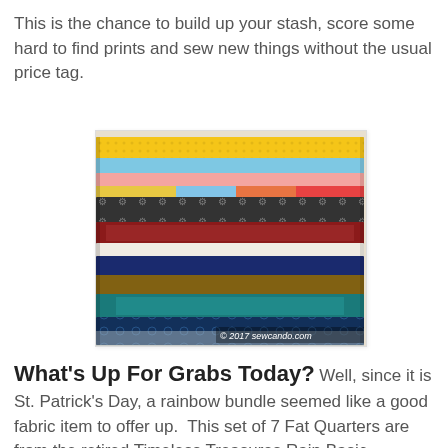This is the chance to build up your stash, score some hard to find prints and sew new things without the usual price tag.
[Figure (photo): Stack of colorful folded fabric fat quarters in various prints and colors including yellow, blue, red, pink, black patterned, and teal fabrics. Watermark reads '© 2017 sewcando.com'.]
What's Up For Grabs Today? Well, since it is St. Patrick's Day, a rainbow bundle seemed like a good fabric item to offer up. This set of 7 Fat Quarters are from the retired Timeless Treasures Rain Basic Collection.